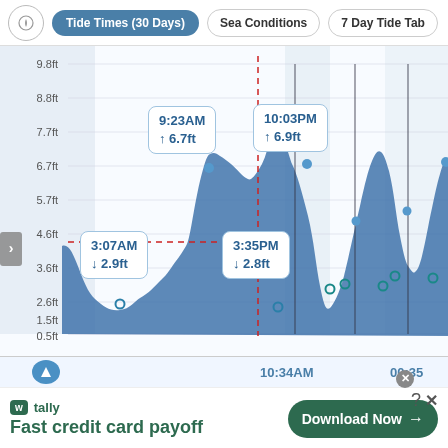Tide Times (30 Days) | Sea Conditions | 7 Day Tide Tab
[Figure (continuous-plot): Tide height area chart showing tidal cycles over time. Y-axis from 0.5ft to 9.8ft. Labeled high tides: 9:23AM ↑6.7ft, 10:03PM ↑6.9ft. Labeled low tides: 3:07AM ↓2.9ft, 3:35PM ↓2.8ft. Red dashed crosshair at approximately 4.0ft. Gray shaded night regions. Multiple subsequent tide peaks visible on the right side. Blue filled area under the wave curve.]
10:34AM
00:35
tally Fast credit card payoff
Download Now